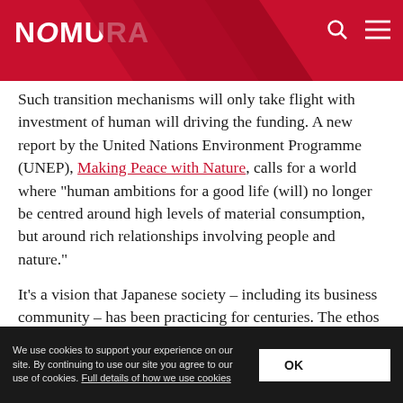NOMURA
Such transition mechanisms will only take flight with investment of human will driving the funding. A new report by the United Nations Environment Programme (UNEP), Making Peace with Nature, calls for a world where “human ambitions for a good life (will) no longer be centred around high levels of material consumption, but around rich relationships involving people and nature.”
It’s a vision that Japanese society – including its business community – has been practicing for centuries. The ethos of Sanpo Yoshi (“three-way satisfaction”) comes from the merchants of Japan’s Omi region, and captures something of the essence
We use cookies to support your experience on our site. By continuing to use our site you agree to our use of cookies. Full details of how we use cookies